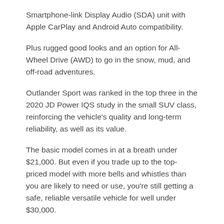Smartphone-link Display Audio (SDA) unit with Apple CarPlay and Android Auto compatibility.
Plus rugged good looks and an option for All-Wheel Drive (AWD) to go in the snow, mud, and off-road adventures.
Outlander Sport was ranked in the top three in the 2020 JD Power IQS study in the small SUV class, reinforcing the vehicle's quality and long-term reliability, as well as its value.
The basic model comes in at a breath under $21,000. But even if you trade up to the top-priced model with more bells and whistles than you are likely to need or use, you're still getting a safe, reliable versatile vehicle for well under $30,000.